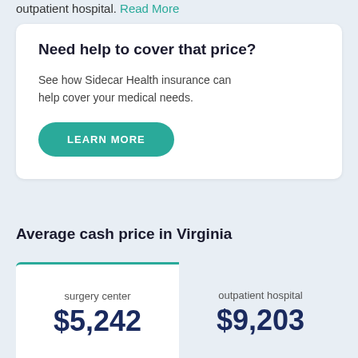outpatient hospital. Read More
Need help to cover that price?
See how Sidecar Health insurance can help cover your medical needs.
LEARN MORE
Average cash price in Virginia
| surgery center | outpatient hospital |
| --- | --- |
| $5,242 | $9,203 |